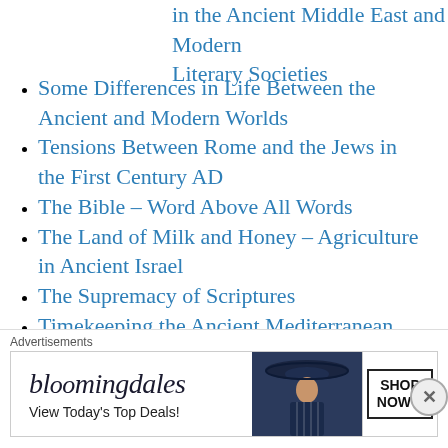in the Ancient Middle East and Modern Literary Societies
Some Differences in Life Between the Ancient and Modern Worlds
Tensions Between Rome and the Jews in the First Century AD
The Bible - Word Above All Words
The Land of Milk and Honey - Agriculture in Ancient Israel
The Supremacy of Scriptures
Timekeeping the Ancient Mediterranean and Near East
Timeline in Antiquity Before Christ
Why Does God Encourage (the Bible?
[Figure (infographic): Bloomingdale's advertisement banner with logo, 'View Today's Top Deals!' tagline, woman in wide-brim hat photo, and 'SHOP NOW >' button]
Advertisements